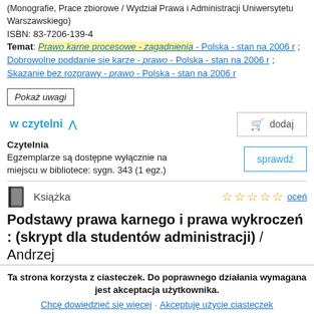(Monografie, Prace zbiorowe / Wydział Prawa i Administracji Uniwersytetu Warszawskiego)
ISBN: 83-7206-139-4
Temat: Prawo karne procesowe - zagadnienia - Polska - stan na 2006 r ; Dobrowolne poddanie się karze - prawo - Polska - stan na 2006 r ; Skazanie bez rozprawy - prawo - Polska - stan na 2006 r
Pokaż uwagi
w czytelni
dodaj
Czytelnia
Egzemplarze są dostępne wyłącznie na miejscu w bibliotece: sygn. 343 (1 egz.)
sprawdź
Książka
oceń
Podstawy prawa karnego i prawa wykroczeń : (skrypt dla studentów administracji) / Andrzej
Ta strona korzysta z ciasteczek. Do poprawnego działania wymagana jest akceptacja użytkownika.
Chcę dowiedzieć się więcej · Akceptuję użycie ciasteczek